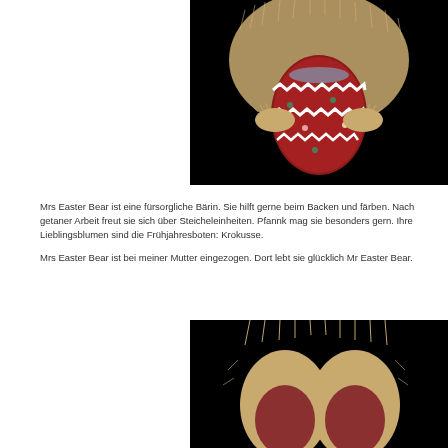[Figure (photo): A stuffed bear holding a decorative red Easter egg with white zigzag ribbon trim and small floral beads, against a black background. The bear has fluffy beige/golden fur.]
Mrs Easter Bear ist eine fürsorgliche Bärin. Sie hilft gerne beim Backen und färben. Nach getaner Arbeit freut sie sich über Steicheleinheiten. Pfannkuchen mag sie besonders gern. Ihre Lieblingsblumen sind die Frühjahresboten: Krokusse.
Mrs Easter Bear ist bei meiner Mutter eingezogen. Dort lebt sie glücklich mit Mr Easter Bear.
[Figure (photo): Close-up of stuffed bear paws/hands with fluffy beige fur and reddish velvet palms, against a black background.]